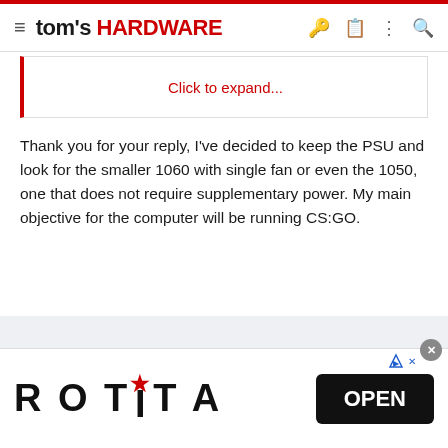tom's HARDWARE
Click to expand...
Thank you for your reply, I've decided to keep the PSU and look for the smaller 1060 with single fan or even the 1050, one that does not require supplementary power. My main objective for the computer will be running CS:GO.
[Figure (logo): ROTITA advertisement banner with OPEN button]